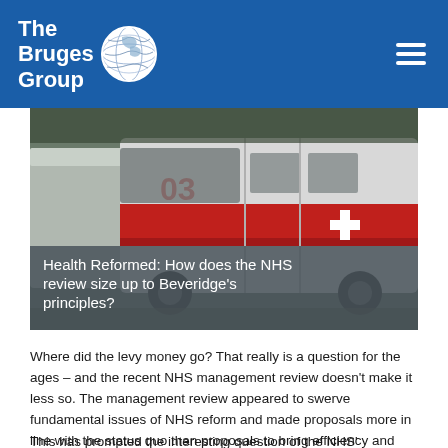The Bruges Group
[Figure (photo): Ambulance vehicles with red cross markings, parked or driving. Text overlay reads: Health Reformed: How does the NHS review size up to Beveridge's principles?]
Health Reformed: How does the NHS review size up to Beveridge's principles?
Where did the levy money go? That really is a question for the ages – and the recent NHS management review doesn't make it less so. The management review appeared to swerve fundamental issues of NHS reform and made proposals more in line with the status quo than proposals to bring efficiency and discipline to the health service.
This has prompted the interesting question of the NHS'